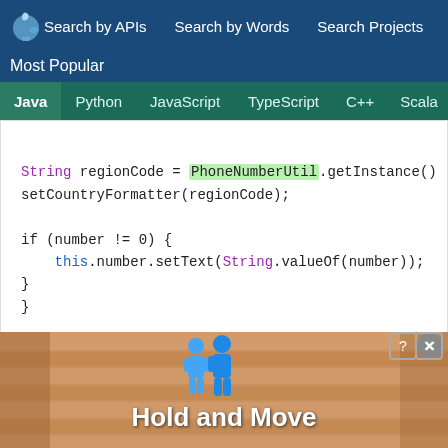Search by APIs  Search by Words  Search Projects
Most Popular
Java  Python  JavaScript  TypeScript  C++  Scala
String regionCode = PhoneNumberUtil.getInstance()
setCountryFormatter(regionCode);

if (number != 0) {
    this.number.setText(String.valueOf(number));
}
}
[Figure (screenshot): Advertisement banner with 'Hold and Move' text and two blue figures icons]